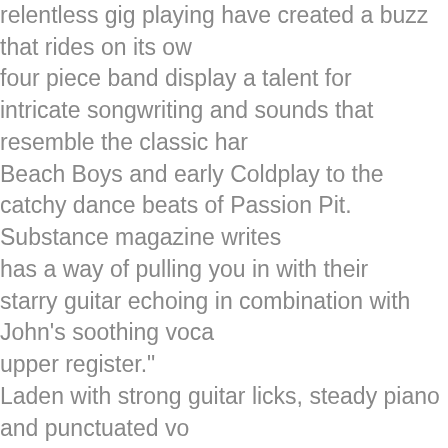relentless gig playing have created a buzz that rides on its own four piece band display a talent for intricate songwriting and sounds that resemble the classic har Beach Boys and early Coldplay to the catchy dance beats of Passion Pit. Substance magazine writes has a way of pulling you in with their starry guitar echoing in combination with John's soothing voca upper register." Laden with strong guitar licks, steady piano and punctuated vo the band makes full use of two primary vocalists. Max and the Moon's "The Way I See," show songwriting and experimentation with new sounds, expanding their scope and offering a signific to the ever-changing music scene in Los Angeles. “Out of My Head” opens with cleverly conjured s unique voice to make us feel the irony of having someone stuck in your head. Guitarist John Velasquez earned a degree in music at Cal Sta Fullerton, and began collaborating with longtime friends Matt and Dillon Couchois in the two brothers' studio. Joined by Zachariah Weaver on